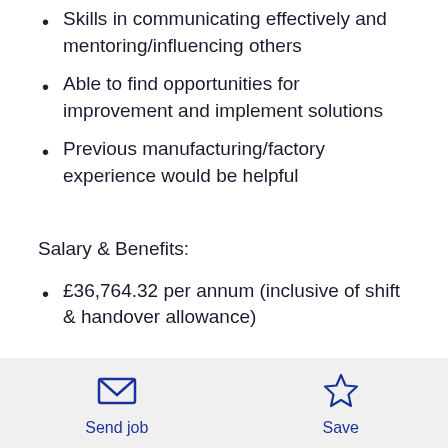Skills in communicating effectively and mentoring/influencing others
Able to find opportunities for improvement and implement solutions
Previous manufacturing/factory experience would be helpful
Salary & Benefits:
£36,764.32 per annum (inclusive of shift & handover allowance)
Send job  Save